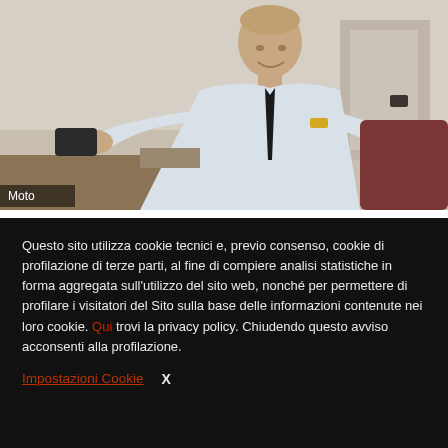[Figure (photo): A middle-aged man in a light blue shirt and dark tie, smiling, holding an object, seated at a desk in an office setting. Label 'Moto' appears at the bottom left of the image.]
Questo sito utilizza cookie tecnici e, previo consenso, cookie di profilazione di terze parti, al fine di compiere analisi statistiche in forma aggregata sull'utilizzo del sito web, nonché per permettere di profilare i visitatori del Sito sulla base delle informazioni contenute nei loro cookie. Qui trovi la privacy policy. Chiudendo questo avviso acconsenti alla profilazione.
Impostazioni Cookie   X